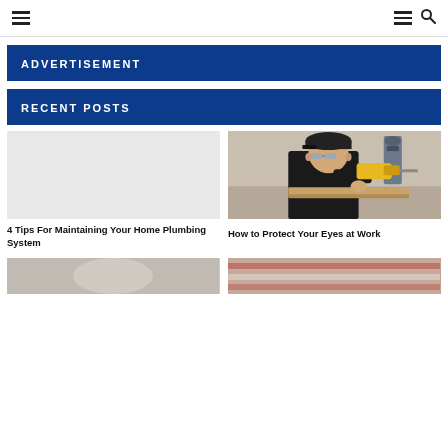Navigation header with hamburger menu and search icon
ADVERTISEMENT
RECENT POSTS
[Figure (photo): Blank/placeholder image for home plumbing article]
4 Tips For Maintaining Your Home Plumbing System
[Figure (photo): Young man wearing cap and safety glasses using a yellow power drill on wood at a workbench]
How to Protect Your Eyes at Work
[Figure (photo): Partial bottom image - person, light colored background]
[Figure (photo): Partial bottom image - red/patterned fabric or material]